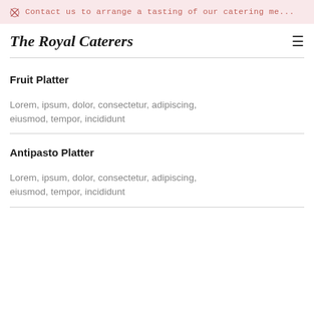✂ Contact us to arrange a tasting of our catering me...
The Royal Caterers
Fruit Platter
Lorem, ipsum, dolor, consectetur, adipiscing, eiusmod, tempor, incididunt
Antipasto Platter
Lorem, ipsum, dolor, consectetur, adipiscing, eiusmod, tempor, incididunt